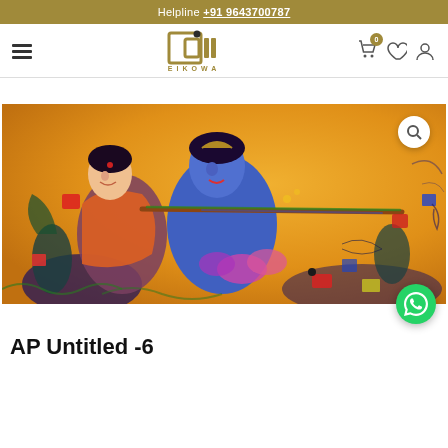Helpline +91 9643700787
[Figure (logo): EIKOWA logo with stylized letters and dot]
[Figure (illustration): Colorful Indian art painting depicting Radha-Krishna with a flute against a golden-yellow background, with peacocks and colorful abstract elements]
AP Untitled -6